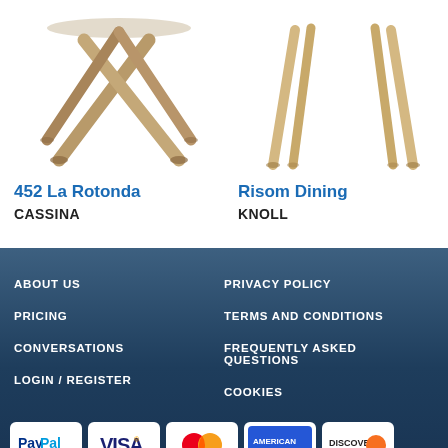[Figure (photo): Bottom portion of a round table with crossed wooden legs (452 La Rotonda by Cassina)]
452 La Rotonda
CASSINA
[Figure (photo): Bottom portion of a table with four angled wooden legs (Risom Dining by Knoll)]
Risom Dining
KNOLL
ABOUT US
PRIVACY POLICY
PRICING
TERMS AND CONDITIONS
CONVERSATIONS
FREQUENTLY ASKED QUESTIONS
LOGIN / REGISTER
COOKIES
[Figure (logo): PayPal payment logo]
[Figure (logo): Visa payment logo]
[Figure (logo): Mastercard payment logo]
[Figure (logo): American Express payment logo]
[Figure (logo): Discover Network payment logo]